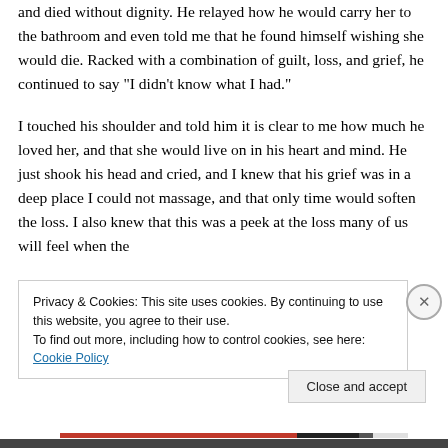and died without dignity. He relayed how he would carry her to the bathroom and even told me that he found himself wishing she would die. Racked with a combination of guilt, loss, and grief, he continued to say “I didn’t know what I had.”

I touched his shoulder and told him it is clear to me how much he loved her, and that she would live on in his heart and mind. He just shook his head and cried, and I knew that his grief was in a deep place I could not massage, and that only time would soften the loss. I also knew that this was a peek at the loss many of us will feel when the
Privacy & Cookies: This site uses cookies. By continuing to use this website, you agree to their use.
To find out more, including how to control cookies, see here: Cookie Policy